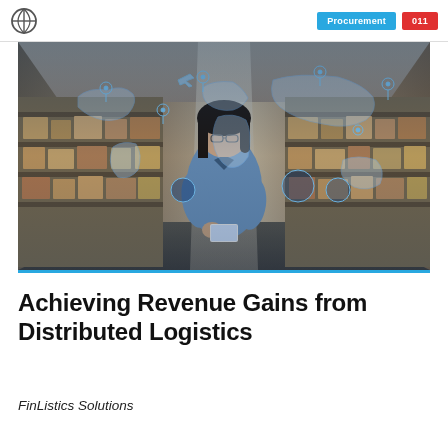Procurement | 011
[Figure (photo): Woman in a warehouse with shelves full of boxes, looking upward at a digital overlay of a world map with location pins and logistics icons, holding a tablet and stylus. The image evokes global distributed logistics.]
Achieving Revenue Gains from Distributed Logistics
FinListics Solutions